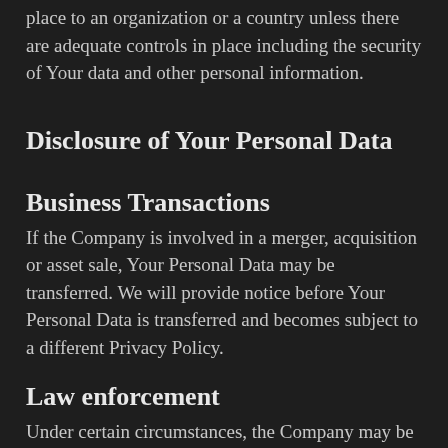place to an organization or a country unless there are adequate controls in place including the security of Your data and other personal information.
Disclosure of Your Personal Data
Business Transactions
If the Company is involved in a merger, acquisition or asset sale, Your Personal Data may be transferred. We will provide notice before Your Personal Data is transferred and becomes subject to a different Privacy Policy.
Law enforcement
Under certain circumstances, the Company may be required to disclose Your Personal Data if required